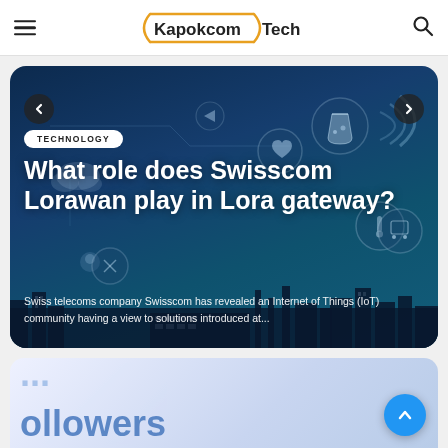Kapokcom Tech
[Figure (screenshot): Hero image for article 'What role does Swisscom Lorawan play in Lora gateway?' showing IoT network icons on a dark blue background with city skyline silhouette. Includes TECHNOLOGY badge, navigation arrows, and article excerpt.]
What role does Swisscom Lorawan play in Lora gateway?
Swiss telecoms company Swisscom has revealed an Internet of Things (IoT) community having a view to solutions introduced at...
[Figure (screenshot): Partial bottom card showing large blue text 'ollowers' (partial word, likely 'followers') on a light blue/white gradient background, with a blue circular scroll-to-top button in the bottom right corner.]